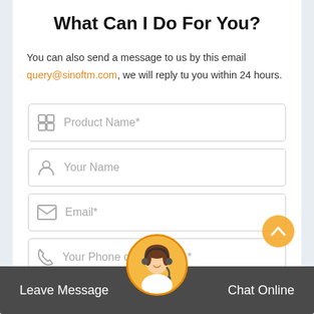What Can I Do For You?
You can also send a message to us by this email
query@sinoftm.com, we will reply tu you within 24 hours.
Product Name*
Your Name
Email*
Your Phone or Whatsapp*
Please fill in here the products you need information
Leave Message
Chat Online